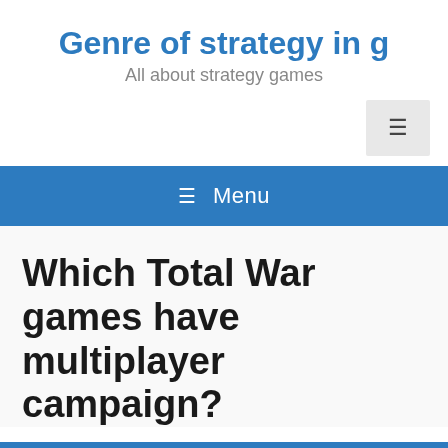Genre of strategy in g
All about strategy games
≡ Menu
Which Total War games have multiplayer campaign?